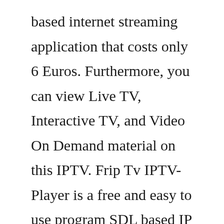based internet streaming application that costs only 6 Euros. Furthermore, you can view Live TV, Interactive TV, and Video On Demand material on this IPTV. Frip Tv IPTV-Player is a free and easy to use program SDL based IP TV player. Optibase EZTV Player. Download. 1 on 1 vote . EZ TV Player - Browser-based client with the ability to play live and on-demand content using a multi-window mosaic view with 1, 4, 9 or 16 ...